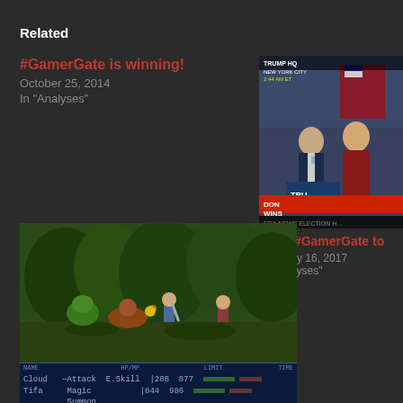Related
#GamerGate is winning!
October 25, 2014
In "Analyses"
[Figure (photo): Fox News broadcast screenshot showing Trump HQ New York City with two figures on stage, Trump wins graphic visible]
From #GamerGate to
February 16, 2017
In "Analyses"
[Figure (screenshot): Final Fantasy VII battle screenshot showing Cloud and Tifa in combat with game UI showing HP/MP bars, Attack, E.Skill, Magic, Summon commands]